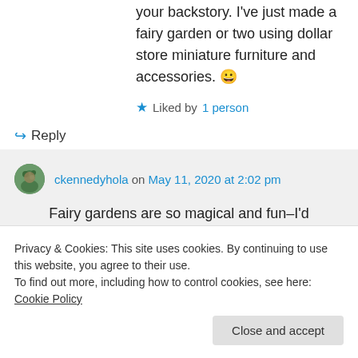your backstory. I've just made a fairy garden or two using dollar store miniature furniture and accessories. 😀
★ Liked by 1 person
↪ Reply
ckennedyhola on May 11, 2020 at 2:02 pm
Fairy gardens are so magical and fun–I'd
Privacy & Cookies: This site uses cookies. By continuing to use this website, you agree to their use. To find out more, including how to control cookies, see here: Cookie Policy
Close and accept
mydangblog on May 9, 2020 at 6:44 pm